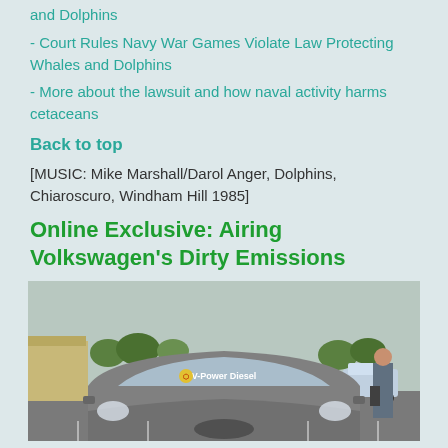and Dolphins
- Court Rules Navy War Games Violate Law Protecting Whales and Dolphins
- More about the lawsuit and how naval activity harms cetaceans
Back to top
[MUSIC: Mike Marshall/Darol Anger, Dolphins, Chiaroscuro, Windham Hill 1985]
Online Exclusive: Airing Volkswagen's Dirty Emissions
[Figure (photo): A Volkswagen car with 'V-Power Diesel' written on the windshield in a parking lot, with a person standing to the right]